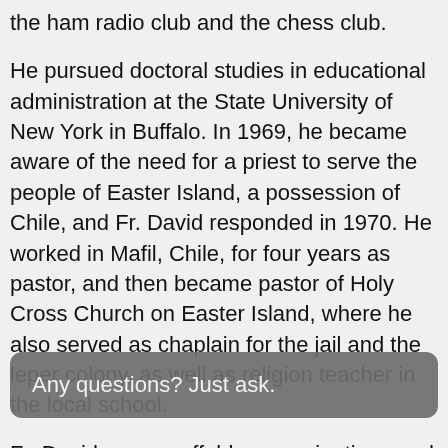the ham radio club and the chess club.
He pursued doctoral studies in educational administration at the State University of New York in Buffalo. In 1969, he became aware of the need for a priest to serve the people of Easter Island, a possession of Chile, and Fr. David responded in 1970. He worked in Mafil, Chile, for four years as pastor, and then became pastor of Holy Cross Church on Easter Island, where he also served as chaplain for the jail and the leper colony, as well as religion teacher in the local school.
Fr. David was an affable, conscientious and dedicated friar until his death on Easter Island June 6, 1985. He was 6[...] f[...]
Any questions? Just ask.